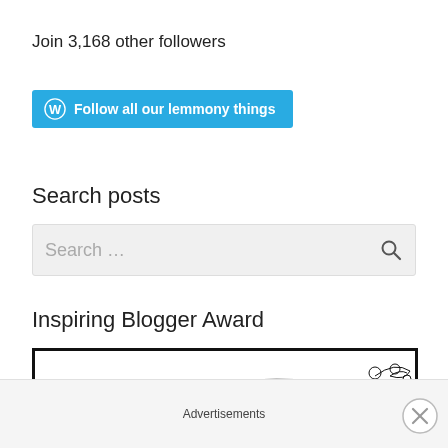Join 3,168 other followers
[Figure (other): WordPress follow button — teal/blue button with WordPress logo and text 'Follow all our lemmony things']
Search posts
[Figure (screenshot): Search input box with placeholder text 'Search ...' and a magnifying glass icon on the right]
Inspiring Blogger Award
[Figure (illustration): Black and white decorative illustration of feathers and floral swirls inside a thick black border frame]
Advertisements